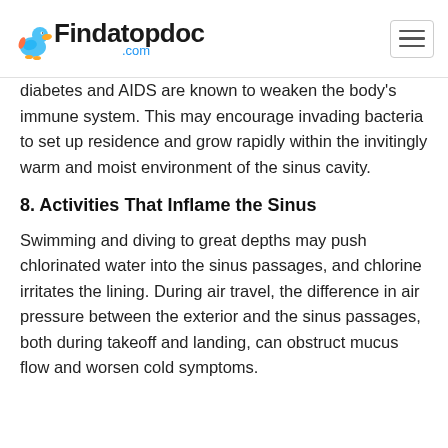Findatopdoc.com
diabetes and AIDS are known to weaken the body's immune system. This may encourage invading bacteria to set up residence and grow rapidly within the invitingly warm and moist environment of the sinus cavity.
8. Activities That Inflame the Sinus
Swimming and diving to great depths may push chlorinated water into the sinus passages, and chlorine irritates the lining. During air travel, the difference in air pressure between the exterior and the sinus passages, both during takeoff and landing, can obstruct mucus flow and worsen cold symptoms.